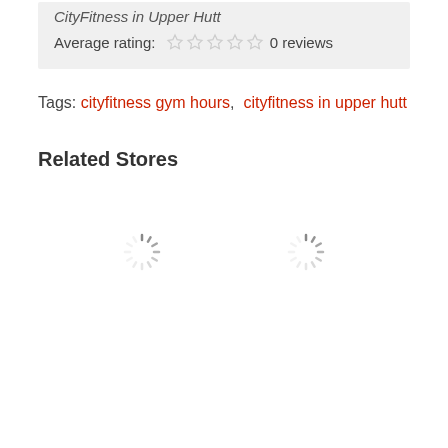CityFitness in Upper Hutt
Average rating: ☆☆☆☆☆ 0 reviews
Tags: cityfitness gym hours, cityfitness in upper hutt
Related Stores
[Figure (illustration): Two loading spinner icons side by side indicating content is loading]